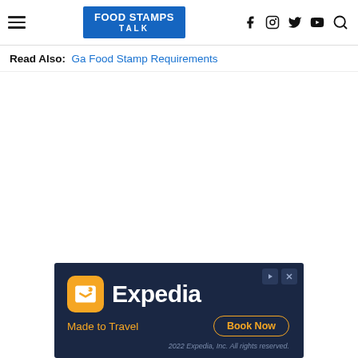FOOD STAMPS TALK
Read Also: Ga Food Stamp Requirements
[Figure (screenshot): Expedia advertisement banner with dark navy background, Expedia logo with yellow icon, tagline 'Made to Travel', and 'Book Now' button. Footer reads '2022 Expedia, Inc. All rights reserved.']